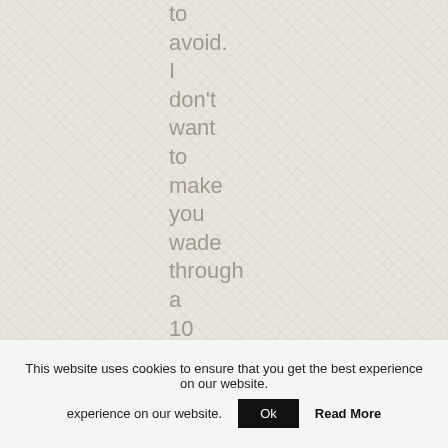to avoid. I don't want to make you wade through a 10 page sales letter
This website uses cookies to ensure that you get the best experience on our website.
Ok
Read More